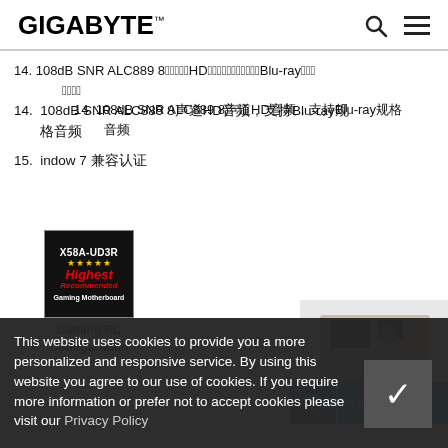GIGABYTE™
14. 108dB SNR ALC889 8声道HD音频，支持Blu-ray规格音频
15. indow 7 兼容认证
[Figure (logo): X58A-UD3R Highest Recommended Gaming Motherboard award badge]
Gaming PC Configuration
[Figure (photo): 3D industry product image (motherboard/component)]
This website uses cookies to provide you a more personalized and responsive service. By using this website you agree to our use of cookies. If you require more information or prefer not to accept cookies please visit our Privacy Policy